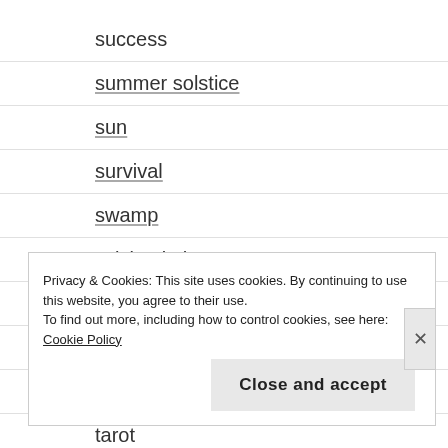success
summer solstice
sun
survival
swamp
sylvia plath
talkingblues
tanka
Tao Te Ching
tarot
Privacy & Cookies: This site uses cookies. By continuing to use this website, you agree to their use.
To find out more, including how to control cookies, see here: Cookie Policy
Close and accept